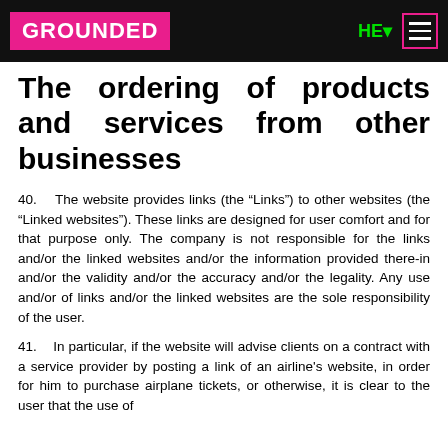GROUNDED | HE | menu
The ordering of products and services from other businesses
40.    The website provides links (the “Links”) to other websites (the “Linked websites”). These links are designed for user comfort and for that purpose only. The company is not responsible for the links and/or the linked websites and/or the information provided there-in and/or the validity and/or the accuracy and/or the legality. Any use and/or of links and/or the linked websites are the sole responsibility of the user.
41.    In particular, if the website will advise clients on a contract with a service provider by posting a link of an airline's website, in order for him to purchase airplane tickets, or otherwise, it is clear to the user that the use of